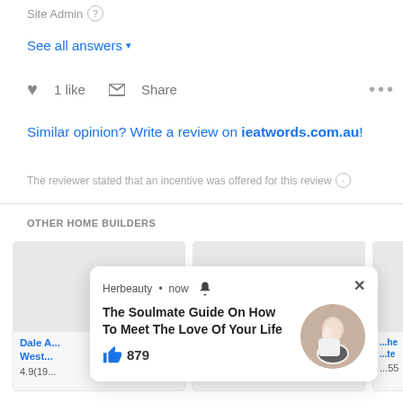Site Admin (?)
See all answers ▾
♥ 1 like  ⋮< Share  •••
Similar opinion? Write a review on ieatwords.com.au!
The reviewer stated that an incentive was offered for this review (>)
OTHER HOME BUILDERS
[Figure (screenshot): Three home builder listing cards with gray image placeholder areas, partial titles including 'Dale A... West...' with rating '4.9(19...' and a partially visible third card.]
[Figure (infographic): Herbeauty popup notification: 'The Soulmate Guide On How To Meet The Love Of Your Life' with 879 likes and a circular photo of two people.]